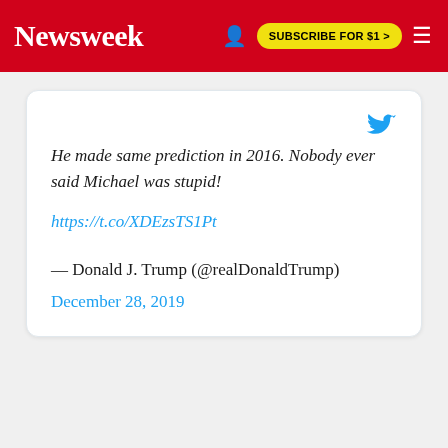Newsweek | SUBSCRIBE FOR $1 >
[Figure (screenshot): Embedded tweet card from @realDonaldTrump dated December 28, 2019, with Twitter bird logo, tweet text, link, attribution, and date]
He made same prediction in 2016. Nobody ever said Michael was stupid!
https://t.co/XDEzsTS1Pt
— Donald J. Trump (@realDonaldTrump)
December 28, 2019